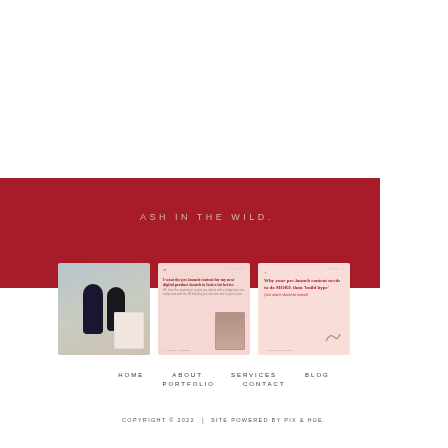[Figure (photo): White/light background upper half of website page]
[Figure (photo): Red/crimson horizontal banner with text 'ASH IN THE WILD']
ASH IN THE WILD
[Figure (photo): Instagram grid showing three social media posts: couple selfie, testimonial card, and blog post card]
HOME   ABOUT   SERVICES   BLOG   PORTFOLIO   CONTACT
COPYRIGHT © 2022  |  SITE POWERED BY PIX & HUE.